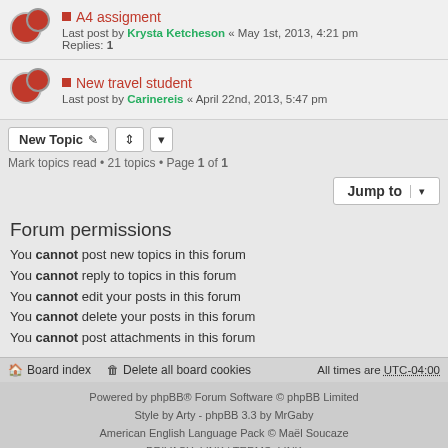A4 assigment — Last post by Krysta Ketcheson « May 1st, 2013, 4:21 pm — Replies: 1
New travel student — Last post by Carinereis « April 22nd, 2013, 5:47 pm
Mark topics read • 21 topics • Page 1 of 1
Jump to
Forum permissions
You cannot post new topics in this forum
You cannot reply to topics in this forum
You cannot edit your posts in this forum
You cannot delete your posts in this forum
You cannot post attachments in this forum
Board index   Delete all board cookies   All times are UTC-04:00
Powered by phpBB® Forum Software © phpBB Limited
Style by Arty - phpBB 3.3 by MrGaby
American English Language Pack © Maël Soucaze
PRIVACY_LINK | TERMS_LINK